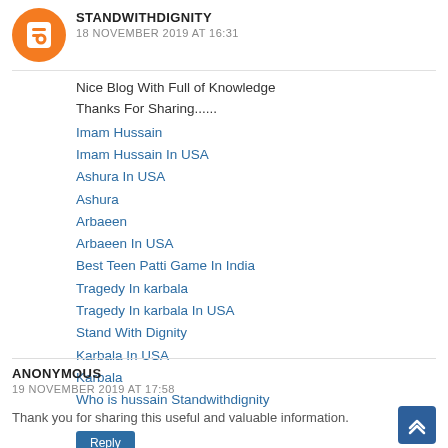[Figure (logo): Blogger orange circle avatar icon with white B]
STANDWITHDIGNITY
18 NOVEMBER 2019 AT 16:31
Nice Blog With Full of Knowledge
Thanks For Sharing......
Imam Hussain
Imam Hussain In USA
Ashura In USA
Ashura
Arbaeen
Arbaeen In USA
Best Teen Patti Game In India
Tragedy In karbala
Tragedy In karbala In USA
Stand With Dignity
Karbala In USA
Karbala
Who is hussain Standwithdignity
Reply
ANONYMOUS
19 NOVEMBER 2019 AT 17:58
Thank you for sharing this useful and valuable information.